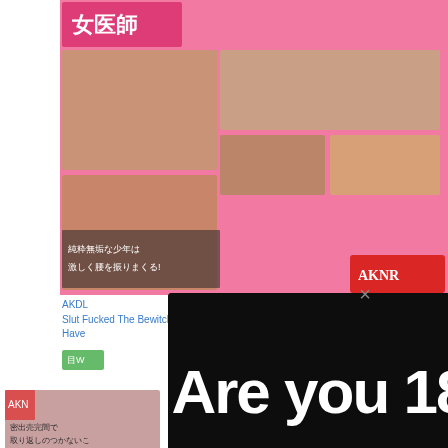[Figure (screenshot): Background webpage showing Japanese adult DVD covers with pink backgrounds and Japanese text, partially visible behind a modal dialog]
AKDL ... Be Slut Fucked The Bewitching Beauty Salon My You Have ...
[Figure (infographic): Age verification modal popup on dark/black background with close X button at top center, large bold text 'Are you 18+?', subtitle 'Click to watch ads', and a YES button with white border]
Are you 18+?
Click to watch ads
YES